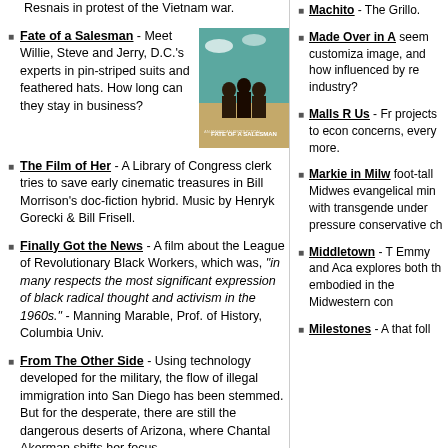Resnais in protest of the Vietnam war.
Fate of a Salesman - Meet Willie, Steve and Jerry, D.C.'s experts in pin-striped suits and feathered hats. How long can they stay in business?
The Film of Her - A Library of Congress clerk tries to save early cinematic treasures in Bill Morrison's doc-fiction hybrid. Music by Henryk Gorecki & Bill Frisell.
Finally Got the News - A film about the League of Revolutionary Black Workers, which was, "in many respects the most significant expression of black radical thought and activism in the 1960s." - Manning Marable, Prof. of History, Columbia Univ.
From The Other Side - Using technology developed for the military, the flow of illegal immigration into San Diego has been stemmed. But for the desperate, there are still the dangerous deserts of Arizona, where Chantal Akerman shifts her focus.
Fundi: The Story of Ella Baker - Friend and advisor to
Machito - The Grillo.
Made Over in America - seem customiza image, and how influenced by re industry?
Malls R Us - Fr projects to econ concerns, every more.
Markie in Milw foot-tall Midwest evangelical min with transgende under pressure conservative ch
Middletown - T Emmy and Aca explores both th embodied in the Midwestern con
Milestones - A that foll